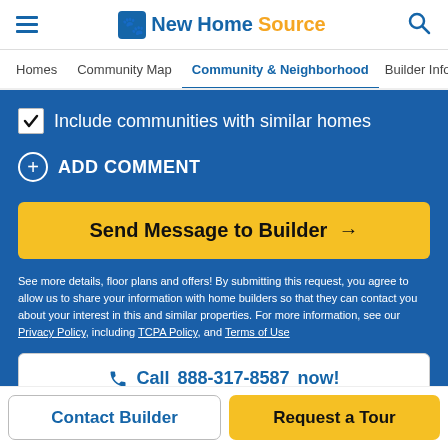NewHomeSource
Homes | Community Map | Community & Neighborhood | Builder Info
Include communities with similar homes
ADD COMMENT
Send Message to Builder →
See more details, floor plans and offers! By submitting this request, you agree to allow us to share your information with home builders so that they can contact you about your interest in this and similar properties. For more information, see our Privacy Policy, including TCPA Policy, and Terms of Use
Call 888-317-8587 now!
Contact Builder
Request a Tour